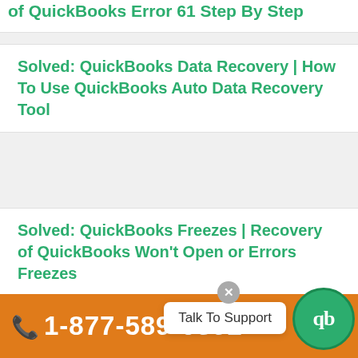of QuickBooks Error 61 Step By Step
Solved: QuickBooks Data Recovery | How To Use QuickBooks Auto Data Recovery Tool
Solved: QuickBooks Freezes | Recovery of QuickBooks Won't Open or Errors Freezes
Solved: QuickBooks Error 15241 | Recovery of QuickBooks Error 15241 Step By Step
Talk To Support
1-877-589-0392